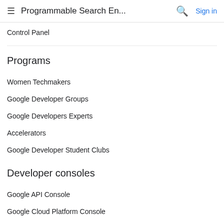Programmable Search En... Sign in
Control Panel
Programs
Women Techmakers
Google Developer Groups
Google Developers Experts
Accelerators
Google Developer Student Clubs
Developer consoles
Google API Console
Google Cloud Platform Console
Google Play Console